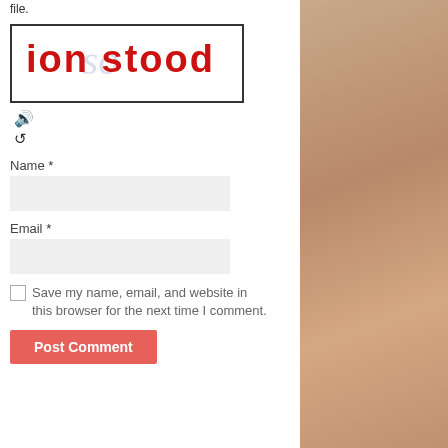file.
[Figure (other): CAPTCHA image showing handwritten red text 'ion stood' over a light blue watermark background]
[Figure (other): Speaker/audio icon for CAPTCHA audio playback]
[Figure (other): Refresh/reload icon for CAPTCHA]
Name *
Email *
Save my name, email, and website in this browser for the next time I comment.
Post Comment